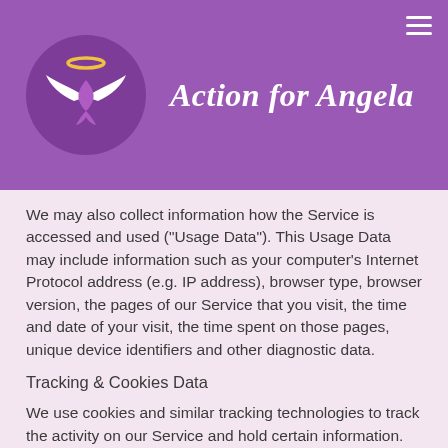[Figure (logo): Action for Angela logo: circular purple badge with white angel wings and a purple ribbon, with a golden halo above]
Action for Angela
We may also collect information how the Service is accessed and used ("Usage Data"). This Usage Data may include information such as your computer's Internet Protocol address (e.g. IP address), browser type, browser version, the pages of our Service that you visit, the time and date of your visit, the time spent on those pages, unique device identifiers and other diagnostic data.
Tracking & Cookies Data
We use cookies and similar tracking technologies to track the activity on our Service and hold certain information.